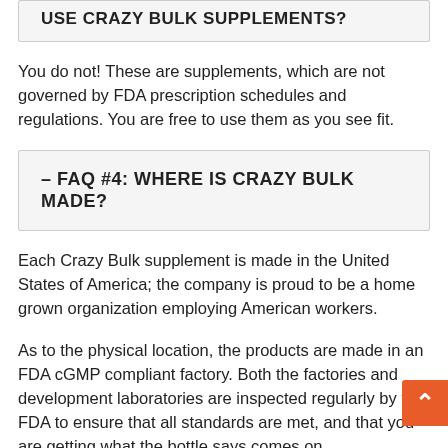USE CRAZY BULK SUPPLEMENTS?
You do not! These are supplements, which are not governed by FDA prescription schedules and regulations. You are free to use them as you see fit.
– FAQ #4: WHERE IS CRAZY BULK MADE?
Each Crazy Bulk supplement is made in the United States of America; the company is proud to be a home grown organization employing American workers.
As to the physical location, the products are made in an FDA cGMP compliant factory. Both the factories and development laboratories are inspected regularly by the FDA to ensure that all standards are met, and that you are getting what the bottle says comes on